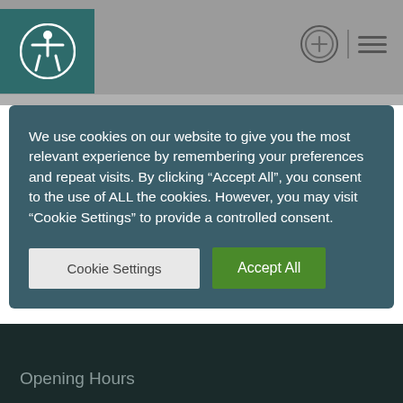[Figure (screenshot): Website header bar with grey background, teal accessibility icon (person in circle) on left, and navigation icons (circle-plus and hamburger menu) on right]
We use cookies on our website to give you the most relevant experience by remembering your preferences and repeat visits. By clicking “Accept All”, you consent to the use of ALL the cookies. However, you may visit “Cookie Settings” to provide a controlled consent.
Cookie Settings
Accept All
Opening Hours